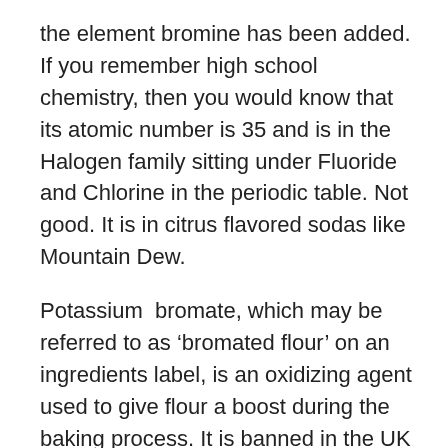the element bromine has been added. If you remember high school chemistry, then you would know that its atomic number is 35 and is in the Halogen family sitting under Fluoride and Chlorine in the periodic table. Not good. It is in citrus flavored sodas like Mountain Dew.
Potassium  bromate, which may be referred to as ‘bromated flour’ on an ingredients label, is an oxidizing agent used to give flour a boost during the baking process. It is banned in the UK and China. It is a likely carcinogen that can cause damage to both DNA and our liver.
Maybe these would be banned in America if our politicians cared about our health.
All we need to know about modern liberals is that Biden appointed Tom Vilsack better known as Mr Monsanto as his Agriculture Secretary. He is the person who helped